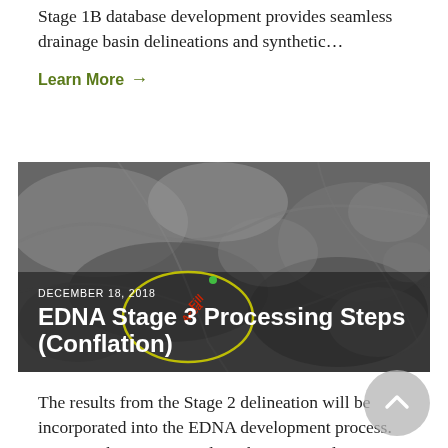Stage 1B database development provides seamless drainage basin delineations and synthetic…
Learn More →
[Figure (photo): Grayscale shaded relief topographic map showing drainage basins and terrain, with a yellow oval annotation and red text labels 'Fill Area' overlaid. Date label: DECEMBER 18, 2018. Title: EDNA Stage 3 Processing Steps (Conflation)]
The results from the Stage 2 delineation will be incorporated into the EDNA development process. Drainage basin areas and synthetic streamline locations found to be in error at